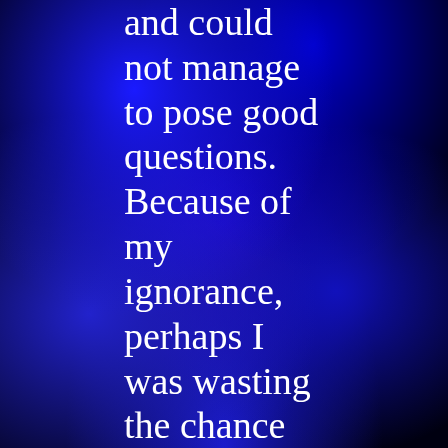and could not manage to pose good questions. Because of my ignorance, perhaps I was wasting the chance to acquire great knowledge. I was the living